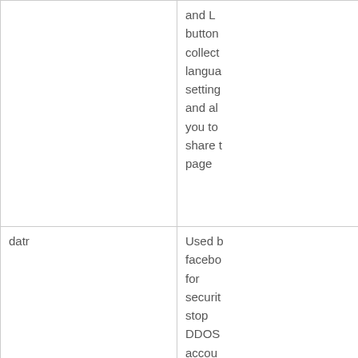| Name | Description |
| --- | --- |
|  | and L button collect language setting and all you to share t page |
| datr | Used b facebo for securit stop DDOS accou and to |